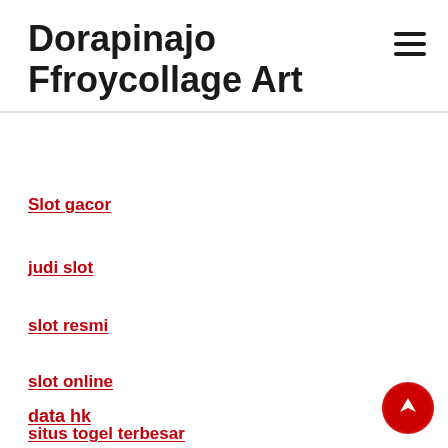Dorapinajo Ffroycollage Art
Slot gacor
judi slot
slot resmi
slot online
data hk
situs togel terbesar